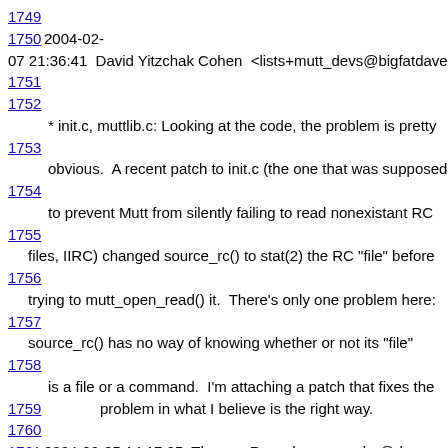1749
1750 2004-02-07 21:36:41  David Yitzchak Cohen  <lists+mutt_devs@bigfatdave.c
1751
1752
1752        * init.c, muttlib.c: Looking at the code, the problem is pretty
1753
1753        obvious.  A recent patch to init.c (the one that was supposed
1754
1754        to prevent Mutt from silently failing to read nonexistant RC
1755
1755    files, IIRC) changed source_rc() to stat(2) the RC "file" before
1756
1756    trying to mutt_open_read() it.  There's only one problem here:
1757
1757    source_rc() has no way of knowing whether or not its "file"
1758
1758        is a file or a command.  I'm attaching a patch that fixes the
1759        problem in what I believe is the right way.
1760
1761 2004-02-05 14:17:25  Thomas Roessler  <roessler@does-not-exist.org>  (roessler)
1762
1763        * menu.c: Back out the patch for #1697.
1764